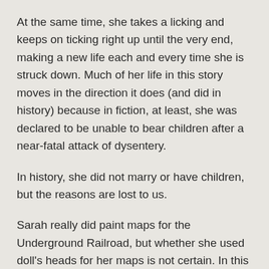At the same time, she takes a licking and keeps on ticking right up until the very end, making a new life each and every time she is struck down. Much of her life in this story moves in the direction it does (and did in history) because in fiction, at least, she was declared to be unable to bear children after a near-fatal attack of dysentery.
In history, she did not marry or have children, but the reasons are lost to us.
Sarah really did paint maps for the Underground Railroad, but whether she used doll's heads for her maps is not certain. In this story one doll's head provides a much-needed link to Eden in our present.
While Sarah seems like a heroic figure, Eden starts out her story as a self-absorbed and self-centered